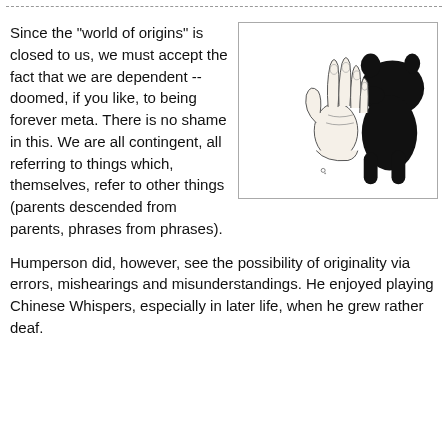Since the "world of origins" is closed to us, we must accept the fact that we are dependent -- doomed, if you like, to being forever meta. There is no shame in this. We are all contingent, all referring to things which, themselves, refer to other things (parents descended from parents, phrases from phrases).
[Figure (illustration): A hand making a shadow puppet shape. On the left is a drawn hand with fingers spread, and on the right is its black silhouette shadow in the shape of a bear or animal.]
Humperson did, however, see the possibility of originality via errors, mishearings and misunderstandings. He enjoyed playing Chinese Whispers, especially in later life, when he grew rather deaf.